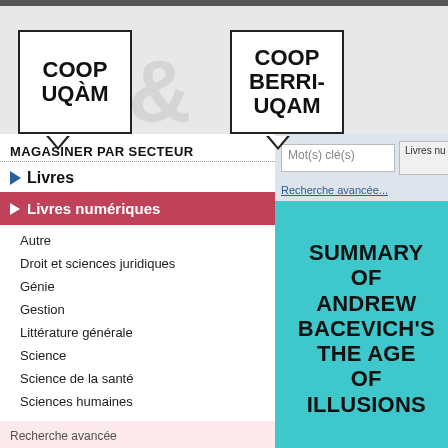[Figure (logo): COOP UQÀM and COOP BERRI-UQAM logos with ampersand between them]
MAGASINER PAR SECTEUR
Livres
Livres numériques
Autre
Droit et sciences juridiques
Génie
Gestion
Littérature générale
Science
Science de la santé
Sciences humaines
Recherche avancée
Plus d'information sur les produits
Mot(s) clé(s)
Livres nu
Recherche avancée...
[Figure (illustration): Book cover in cyan/teal background with bold text: SUMMARY OF ANDREW BACEVICH'S THE AGE OF ILLUSIONS]